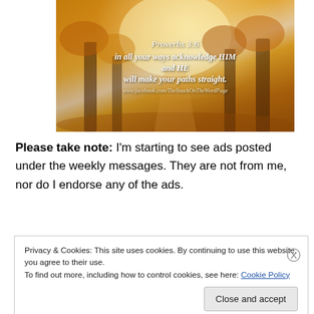[Figure (photo): Forest scene with autumn golden light shining through trees, overlaid with white italic text reading 'Proverbs 3:6 in all your ways acknowledge HIM and HE will make your paths straight.' and URL www.facebook.com/TheSnackOnTheWordPage]
Please take note:  I'm starting to see ads posted under the weekly messages.  They are not from me, nor do I endorse any of the ads.
Privacy & Cookies: This site uses cookies. By continuing to use this website, you agree to their use.
To find out more, including how to control cookies, see here: Cookie Policy